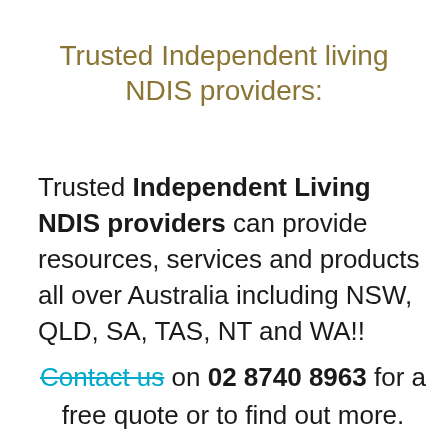Trusted Independent living NDIS providers:
Trusted Independent Living NDIS providers can provide resources, services and products all over Australia including NSW, QLD, SA, TAS, NT and WA!!
Contact us on 02 8740 8963 for a free quote or to find out more.